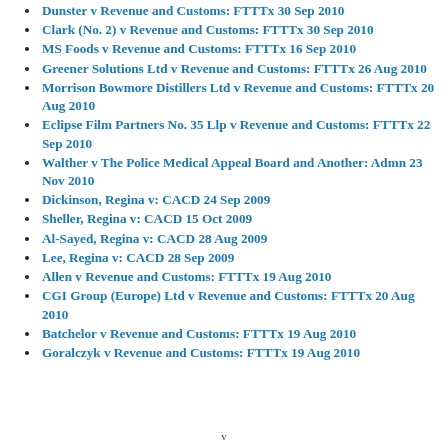Dunster v Revenue and Customs: FTTTx 30 Sep 2010
Clark (No. 2) v Revenue and Customs: FTTTx 30 Sep 2010
MS Foods v Revenue and Customs: FTTTx 16 Sep 2010
Greener Solutions Ltd v Revenue and Customs: FTTTx 26 Aug 2010
Morrison Bowmore Distillers Ltd v Revenue and Customs: FTTTx 20 Aug 2010
Eclipse Film Partners No. 35 Llp v Revenue and Customs: FTTTx 22 Sep 2010
Walther v The Police Medical Appeal Board and Another: Admn 23 Nov 2010
Dickinson, Regina v: CACD 24 Sep 2009
Sheller, Regina v: CACD 15 Oct 2009
Al-Sayed, Regina v: CACD 28 Aug 2009
Lee, Regina v: CACD 28 Sep 2009
Allen v Revenue and Customs: FTTTx 19 Aug 2010
CGI Group (Europe) Ltd v Revenue and Customs: FTTTx 20 Aug 2010
Batchelor v Revenue and Customs: FTTTx 19 Aug 2010
Goralczyk v Revenue and Customs: FTTTx 19 Aug 2010
v